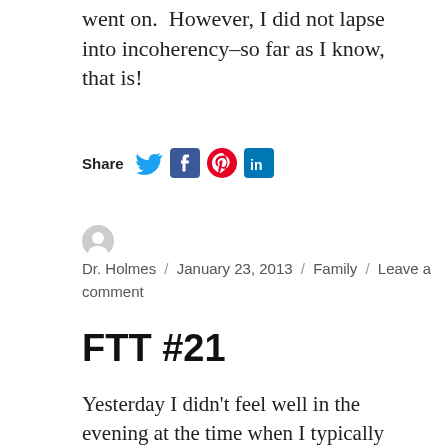went on. However, I did not lapse into incoherency–so far as I know, that is!
[Figure (infographic): Share icons row: Share label followed by Twitter bird icon (blue), Facebook icon (blue square with f), Pinterest icon (red circle with P), LinkedIn icon (blue square with in)]
Dr. Holmes / January 23, 2013 / Family / Leave a comment
FTT #21
Yesterday I didn't feel well in the evening at the time when I typically blog, so I'm behind a day on my Funny Thing of the Day.  I'll try to come up with two on a single day at some point